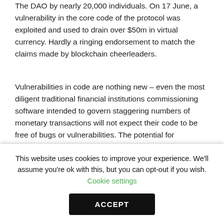The DAO by nearly 20,000 individuals. On 17 June, a vulnerability in the core code of the protocol was exploited and used to drain over $50m in virtual currency. Hardly a ringing endorsement to match the claims made by blockchain cheerleaders.
Vulnerabilities in code are nothing new – even the most diligent traditional financial institutions commissioning software intended to govern staggering numbers of monetary transactions will not expect their code to be free of bugs or vulnerabilities. The potential for catastrophe should these vulnerabilities be exploited is limited: as soon as they are identified, they can be corrected and updated. But because smart contracts rely on the ever-
This website uses cookies to improve your experience. We'll assume you're ok with this, but you can opt-out if you wish. Cookie settings
ACCEPT